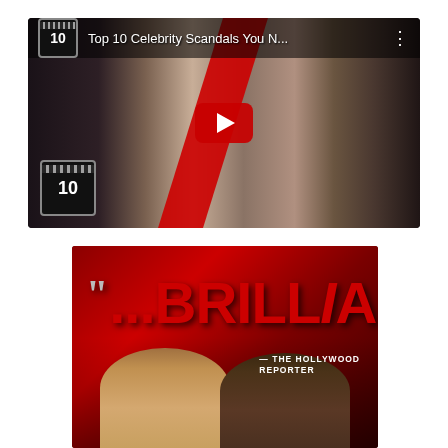[Figure (screenshot): YouTube video thumbnail for 'Top 10 Celebrity Scandals You N...' showing collage of women, red diagonal slash, play button, clapperboard icon with number 10 in top-left and bottom-left corners, and three-dot menu icon]
[Figure (photo): Movie/TV show promotional poster with dark red background, large red italic text reading '...BRILLIANT...' with opening and closing quotation marks, attribution to '— THE HOLLYWOOD REPORTER', and two people (a blonde woman and a dark-skinned man) in the foreground]